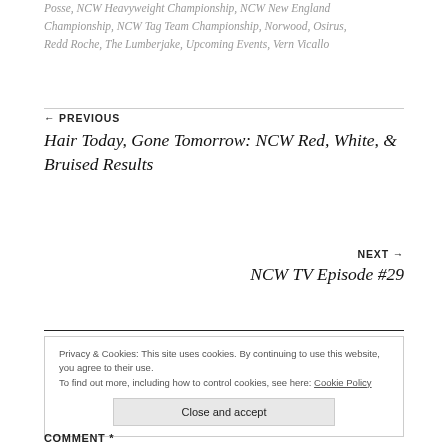Posse, NCW Heavyweight Championship, NCW New England Championship, NCW Tag Team Championship, Norwood, Osirus, Redd Roche, The Lumberjake, Upcoming Events, Vern Vicallo
← PREVIOUS
Hair Today, Gone Tomorrow: NCW Red, White, & Bruised Results
NEXT →
NCW TV Episode #29
Privacy & Cookies: This site uses cookies. By continuing to use this website, you agree to their use.
To find out more, including how to control cookies, see here: Cookie Policy
Close and accept
COMMENT *